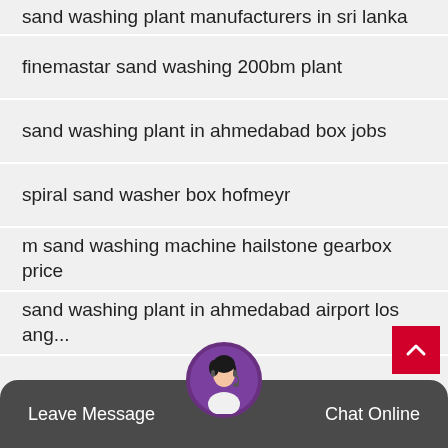sand washing plant manufacturers in sri lanka
finemastar sand washing 200bm plant
sand washing plant in ahmedabad box jobs
spiral sand washer box hofmeyr
m sand washing machine hailstone gearbox price
sand washing plant in ahmedabad airport los ang...
what to use for washing sand
Leave Message   Chat Online